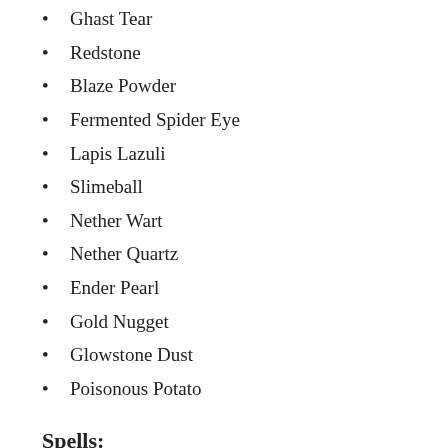Ghast Tear
Redstone
Blaze Powder
Fermented Spider Eye
Lapis Lazuli
Slimeball
Nether Wart
Nether Quartz
Ender Pearl
Gold Nugget
Glowstone Dust
Poisonous Potato
Spells:
Spells are cast by holding a wand and right-clicking. The spell selected by default when a wand is first crafted is Reducto, and